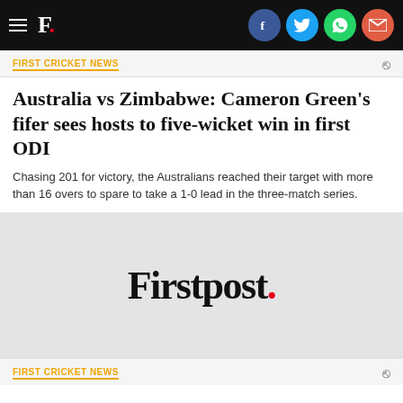F. [Firstpost logo] with social icons: Facebook, Twitter, WhatsApp, Email
FIRST CRICKET NEWS
Australia vs Zimbabwe: Cameron Green's fifer sees hosts to five-wicket win in first ODI
Chasing 201 for victory, the Australians reached their target with more than 16 overs to spare to take a 1-0 lead in the three-match series.
[Figure (logo): Firstpost logo — large serif text reading 'Firstpost.' with a red period, on a light gray background]
FIRST CRICKET NEWS